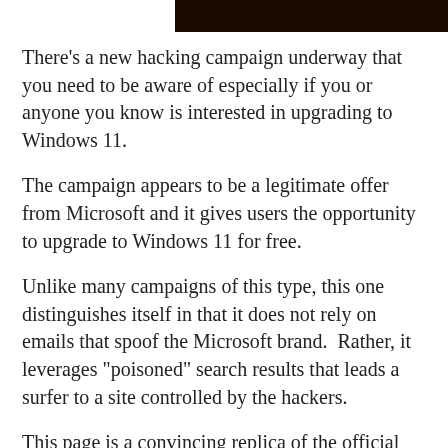[Figure (photo): Partial dark image at top of page, appears to be a dark scene or banner image cropped at the top]
There's a new hacking campaign underway that you need to be aware of especially if you or anyone you know is interested in upgrading to Windows 11.
The campaign appears to be a legitimate offer from Microsoft and it gives users the opportunity to upgrade to Windows 11 for free.
Unlike many campaigns of this type, this one distinguishes itself in that it does not rely on emails that spoof the Microsoft brand.  Rather, it leverages "poisoned" search results that leads a surfer to a site controlled by the hackers.
This page is a convincing replica of the official Microsoft promo page for Windows 11. Of course, it's got malicious code embedded in it and when the site visitor enters their personal information in order